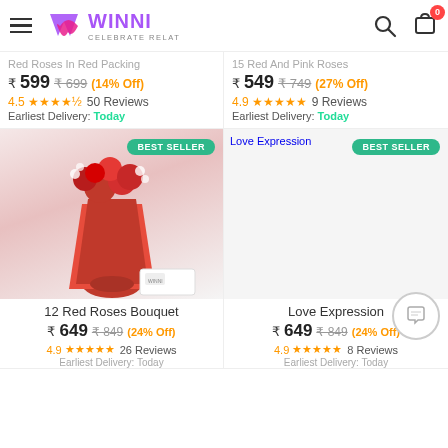WINNI - CELEBRATE RELATIONS
₹ 599 ₹699 (14% Off) 4.5★★★★½ 50 Reviews Earliest Delivery: Today
₹ 549 ₹749 (27% Off) 4.9★★★★★ 9 Reviews Earliest Delivery: Today
[Figure (photo): Red roses bouquet wrapped in red tissue paper with ribbon, white background. BEST SELLER badge.]
[Figure (photo): Love Expression product image placeholder. BEST SELLER badge.]
12 Red Roses Bouquet
Love Expression
₹ 649 ₹849 (24% Off) 4.9★★★★★ 26 Reviews Earliest Delivery: Today
₹ 649 ₹849 (24% Off) 4.9★★★★★ 8 Reviews Earliest Delivery: Today